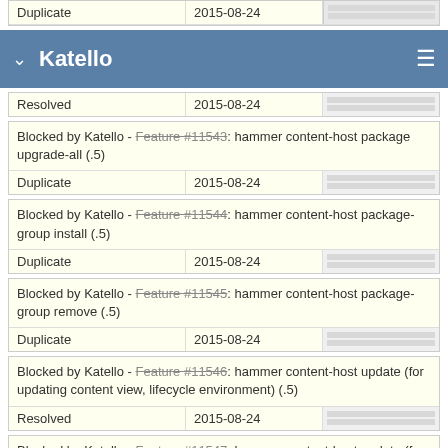| Duplicate | 2015-08-24 |  |
| --- | --- | --- |
Katello
| Resolved | 2015-08-24 |  |
| --- | --- | --- |
Blocked by Katello - Feature #11543: hammer content-host package upgrade-all (.5)
| Duplicate | 2015-08-24 |  |
| --- | --- | --- |
Blocked by Katello - Feature #11544: hammer content-host package-group install (.5)
| Duplicate | 2015-08-24 |  |
| --- | --- | --- |
Blocked by Katello - Feature #11545: hammer content-host package-group remove (.5)
| Duplicate | 2015-08-24 |  |
| --- | --- | --- |
Blocked by Katello - Feature #11546: hammer content-host update (for updating content view, lifecycle environment) (.5)
| Resolved | 2015-08-24 |  |
| --- | --- | --- |
Blocked by Katello - Feature #11547: hammer content-host update (for updating service-level, release-version)